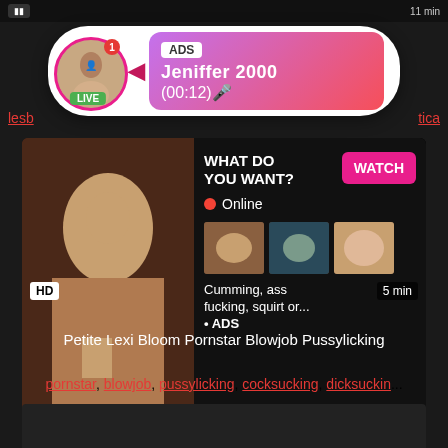[Figure (screenshot): Ad overlay bubble with live avatar of a woman, ADS tag, name Jeniffer 2000, time (00:12)]
lesb...
...tica
[Figure (screenshot): Video thumbnail of a woman with a dark background, with overlay panel showing WHAT DO YOU WANT? WATCH button, Online indicator, three small thumbnails, text Cumming, ass fucking, squirt or... • ADS]
HD
5 min
Petite Lexi Bloom Pornstar Blowjob Pussylicking
pornstar, blowjob, pussylicking, cocksucking, dicksuckin...